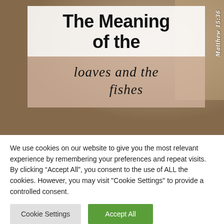[Figure (illustration): Webpage screenshot showing a blog post image with title overlay. Background shows a blurred outdoor/nature scene. The overlay text box has a white section with bold title 'The Meaning of the' and a cream/tan section with script text 'loaves and the fishes'. Vertical text on the right reads 'Matthew 15:36'.]
We use cookies on our website to give you the most relevant experience by remembering your preferences and repeat visits. By clicking “Accept All”, you consent to the use of ALL the cookies. However, you may visit "Cookie Settings" to provide a controlled consent.
Cookie Settings | Accept All